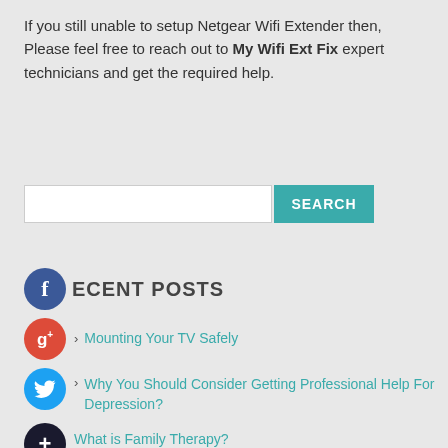If you still unable to setup Netgear Wifi Extender then, Please feel free to reach out to My Wifi Ext Fix expert technicians and get the required help.
[Figure (other): Search bar with input field and SEARCH button in teal color]
RECENT POSTS
Mounting Your TV Safely
Why You Should Consider Getting Professional Help For Depression?
What is Family Therapy?
All About Custom Closets In Sydney
Why Hire A Professional Graphic Design Firm